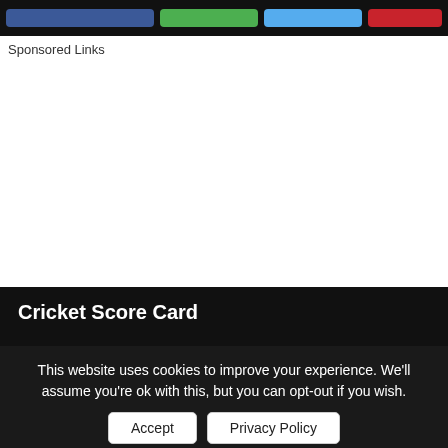[Social share buttons bar]
Sponsored Links
Cricket Score Card
This website uses cookies to improve your experience. We'll assume you're ok with this, but you can opt-out if you wish.
Accept | Privacy Policy